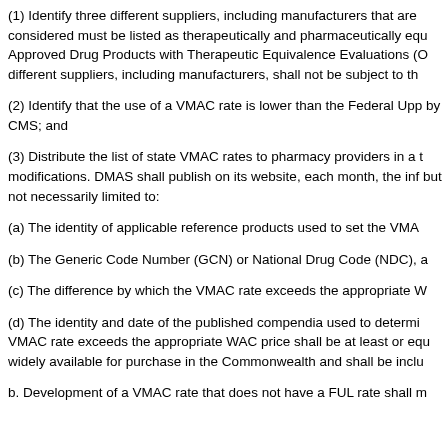(1) Identify three different suppliers, including manufacturers that are considered must be listed as therapeutically and pharmaceutically equivalent in Approved Drug Products with Therapeutic Equivalence Evaluations (Orange Book); different suppliers, including manufacturers, shall not be subject to th
(2) Identify that the use of a VMAC rate is lower than the Federal Upper by CMS; and
(3) Distribute the list of state VMAC rates to pharmacy providers in a timely modifications. DMAS shall publish on its website, each month, the inf but not necessarily limited to:
(a) The identity of applicable reference products used to set the VMAC
(b) The Generic Code Number (GCN) or National Drug Code (NDC), a
(c) The difference by which the VMAC rate exceeds the appropriate W
(d) The identity and date of the published compendia used to determi VMAC rate exceeds the appropriate WAC price shall be at least or equ widely available for purchase in the Commonwealth and shall be inclu
b. Development of a VMAC rate that does not have a FUL rate shall m